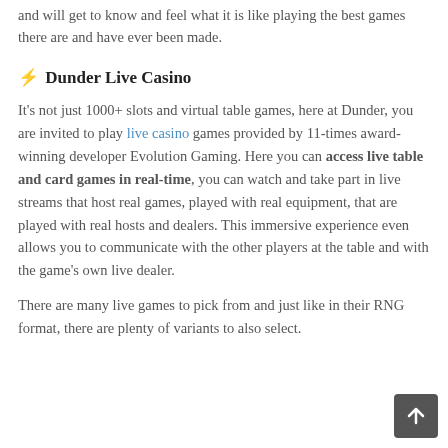and will get to know and feel what it is like playing the best games there are and have ever been made.
⚡ Dunder Live Casino
It's not just 1000+ slots and virtual table games, here at Dunder, you are invited to play live casino games provided by 11-times award-winning developer Evolution Gaming. Here you can access live table and card games in real-time, you can watch and take part in live streams that host real games, played with real equipment, that are played with real hosts and dealers. This immersive experience even allows you to communicate with the other players at the table and with the game's own live dealer.
There are many live games to pick from and just like in their RNG format, there are plenty of variants to also select.